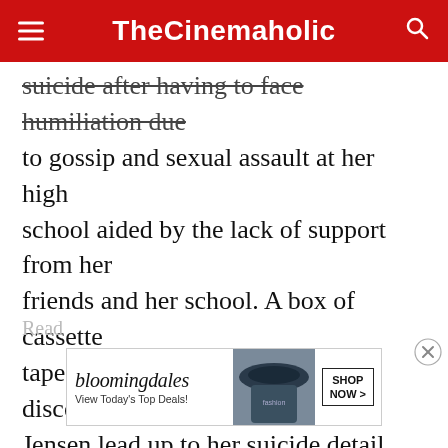TheCinemaholic
suicide after having to face humiliation due to gossip and sexual assault at her high school aided by the lack of support from her friends and her school. A box of cassette tapes recorded by Hannah is discovered by Jensen lead up to her suicide detail thirteen reasons why she ended her life. The show has been quite divisive due to the depiction of suicide and self-harm. Nonetheless, the show is an interesting watch with good work done in the acting, direction and visuals.
[Figure (other): Bloomingdales advertisement banner: 'View Today's Top Deals!' with SHOP NOW button and image of woman in hat]
Read